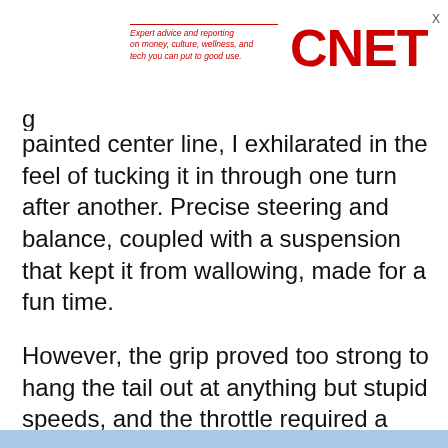Expert advice and reporting on money, culture, wellness, and tech you can put to good use. CNET
painted center line, I exhilarated in the feel of tucking it in through one turn after another. Precise steering and balance, coupled with a suspension that kept it from wallowing, made for a fun time.

However, the grip proved too strong to hang the tail out at anything but stupid speeds, and the throttle required a strong push to really feel the punch of acceleration. The Panamera Turbo S E-Hybrid is certainly more of a fast cruiser than canyon carver.